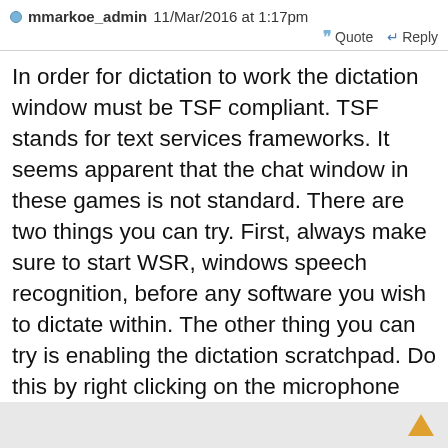mmarkoe_admin 11/Mar/2016 at 1:17pm  Quote  Reply
In order for dictation to work the dictation window must be TSF compliant. TSF stands for text services frameworks. It seems apparent that the chat window in these games is not standard. There are two things you can try. First, always make sure to start WSR, windows speech recognition, before any software you wish to dictate within. The other thing you can try is enabling the dictation scratchpad. Do this by right clicking on the microphone icon in the Speech Bar, then select Options and then make sure there's a checkmark next to the Enable dictation scratchpad.
Marty